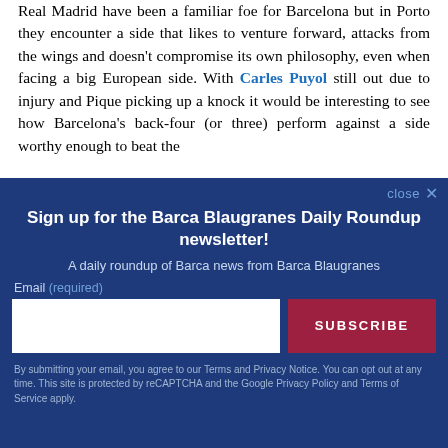Real Madrid have been a familiar foe for Barcelona but in Porto they encounter a side that likes to venture forward, attacks from the wings and doesn't compromise its own philosophy, even when facing a big European side. With Carles Puyol still out due to injury and Pique picking up a knock it would be interesting to see how Barcelona's back-four (or three) perform against a side worthy enough to beat the
[Figure (other): Newsletter signup modal overlay with dark blue background. Title: 'Sign up for the Barca Blaugranes Daily Roundup newsletter!'. Subtitle: 'A daily roundup of Barca news from Barca Blaugranes'. Email input field and SUBSCRIBE button. Footer privacy notice text.]